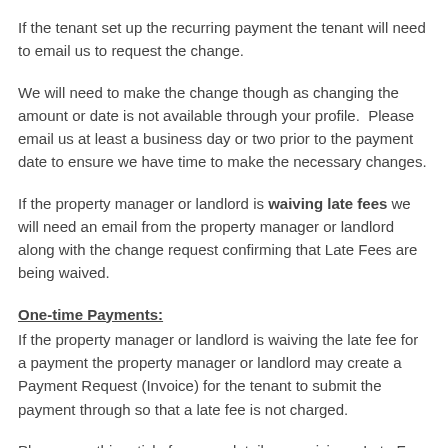If the tenant set up the recurring payment the tenant will need to email us to request the change.
We will need to make the change though as changing the amount or date is not available through your profile.  Please email us at least a business day or two prior to the payment date to ensure we have time to make the necessary changes.
If the property manager or landlord is waiving late fees we will need an email from the property manager or landlord along with the change request confirming that Late Fees are being waived.
One-time Payments:
If the property manager or landlord is waiving the late fee for a payment the property manager or landlord may create a Payment Request (Invoice) for the tenant to submit the payment through so that a late fee is not charged.
Please see this article for more details on waiving a Late Fee